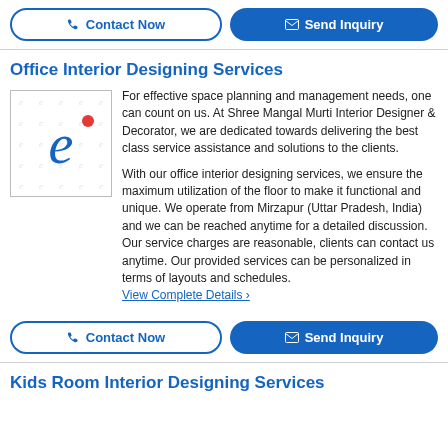Contact Now | Send Inquiry
Office Interior Designing Services
[Figure (logo): Stylized italic letter 'e' with a red dot, on a watermarked background of 'e' letters, serving as a company logo placeholder.]
For effective space planning and management needs, one can count on us. At Shree Mangal Murti Interior Designer & Decorator, we are dedicated towards delivering the best class service assistance and solutions to the clients.
With our office interior designing services, we ensure the maximum utilization of the floor to make it functional and unique. We operate from Mirzapur (Uttar Pradesh, India) and we can be reached anytime for a detailed discussion. Our service charges are reasonable, clients can contact us anytime. Our provided services can be personalized in terms of layouts and schedules.
View Complete Details ›
Contact Now | Send Inquiry
Kids Room Interior Designing Services